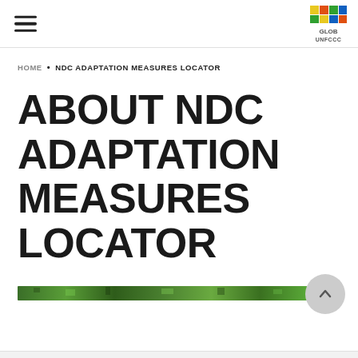Navigation bar with hamburger menu and logo
HOME • NDC ADAPTATION MEASURES LOCATOR
ABOUT NDC ADAPTATION MEASURES LOCATOR
[Figure (photo): A narrow horizontal strip showing a green forest/foliage image used as a decorative divider]